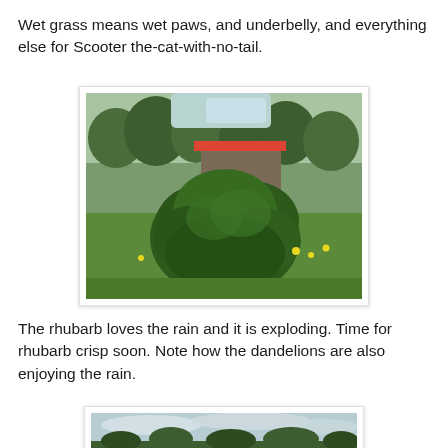Wet grass means wet paws, and underbelly, and everything else for Scooter the-cat-with-no-tail.
[Figure (photo): A large rhubarb plant with huge green leaves growing in a grassy yard. Behind it is a small wooden shed with a red metal roof. Trees are visible in the background. Yellow dandelions are scattered in the grass.]
The rhubarb loves the rain and it is exploding. Time for rhubarb crisp soon. Note how the dandelions are also enjoying the rain.
[Figure (photo): A wide landscape photo showing trees, green grass, and a cloudy overcast sky. Partial view at bottom of page.]